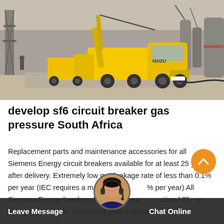[Figure (photo): Yellow Isuzu truck with crane boom at an electrical substation construction site with large industrial equipment and pipes visible. Workers and machinery in background.]
develop sf6 circuit breaker gas pressure South Africa
Replacement parts and maintenance accessories for all Siemens Energy circuit breakers available for at least 25 years after delivery. Extremely low gas leakage rate of less than 0.1% per year (IEC requires a maximum 0.5% per year) All Siemens Energy breakers have a 12 year inspection / 25 year maintenance cycle, minimizing your total cost of